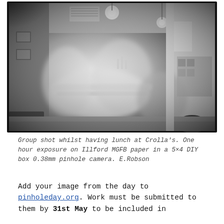[Figure (photo): Black and white pinhole photograph of a restaurant interior (Crolla's) showing motion-blurred figures around a dining table with pendant light bulbs hanging from the ceiling. The image has the characteristic soft, dreamy quality of long-exposure pinhole photography.]
Group shot whilst having lunch at Crolla's. One hour exposure on Illford MGFB paper in a 5×4 DIY box 0.38mm pinhole camera. E.Robson
Add your image from the day to pinholeday.org. Work must be submitted to them by 31st May to be included in